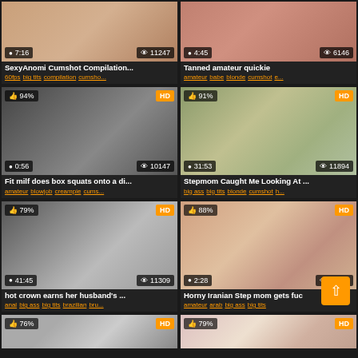[Figure (screenshot): Video thumbnail grid row 1 left - SexyAnomi video, duration 7:16, views 11247]
SexyAnomi Cumshot Compilation...
60fps big tits compilation cumsho...
[Figure (screenshot): Video thumbnail grid row 1 right - Tanned amateur quickie, duration 4:45, views 6146]
Tanned amateur quickie
amateur babe blonde cumshot e...
[Figure (screenshot): Video thumbnail row 2 left - Fit milf does box squats, 94%, HD, duration 0:56, views 10147]
Fit milf does box squats onto a di...
amateur blowjob creampie cums...
[Figure (screenshot): Video thumbnail row 2 right - Stepmom Caught Me, 91%, HD, duration 31:53, views 11894]
Stepmom Caught Me Looking At ...
big ass big tits blonde cumshot h...
[Figure (screenshot): Video thumbnail row 3 left - hot crown earns her husband's, 79%, HD, duration 41:45, views 11309]
hot crown earns her husband's ...
anal big ass big tits brazilian bru...
[Figure (screenshot): Video thumbnail row 3 right - Horny Iranian Step mom gets fuc, 88%, HD, duration 2:28, views 10426]
Horny Iranian Step mom gets fuc
amateur arab big ass big tits
[Figure (screenshot): Video thumbnail row 4 left - 76%, HD, partially visible]
[Figure (screenshot): Video thumbnail row 4 right - 79%, HD, partially visible]